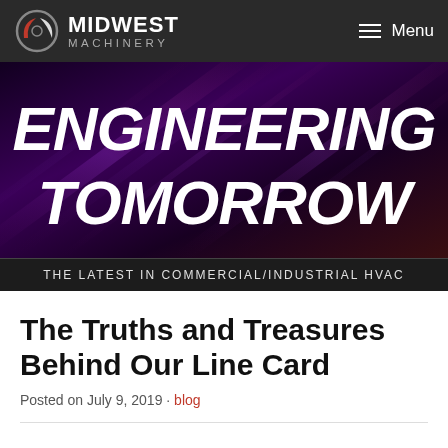MIDWEST MACHINERY — Menu
[Figure (illustration): Hero banner with dark purple/magenta gradient background and diagonal light streaks, displaying the text ENGINEERING TOMORROW in large white bold italic letters]
THE LATEST IN COMMERCIAL/INDUSTRIAL HVAC
The Truths and Treasures Behind Our Line Card
Posted on July 9, 2019 · blog